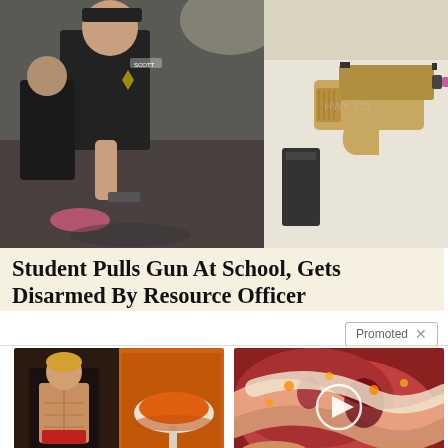[Figure (photo): Two photos side by side: left shows a police officer disarming a student, right shows a tan/beige handgun with a magazine on a white surface]
Student Pulls Gun At School, Gets Disarmed By Resource Officer
Promoted X
[Figure (photo): Advertisement image showing a fit woman with abs and spices/powder, promoting a fat-burning teaspoon remedy]
A Teaspoon On An Empty Stomach Burns Fat Like Crazy!
120,524
[Figure (photo): Advertisement image showing a medical/biological close-up with a video play button overlay, related to Metformin prescriptions]
Why Doctors In The Know No Longer Prescribe Metformin
87,189